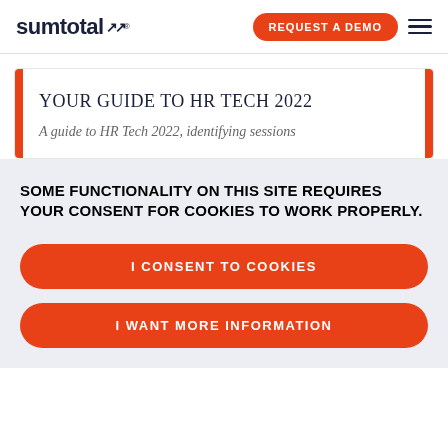sumtotal · REQUEST A DEMO · ☰
YOUR GUIDE TO HR TECH 2022
A guide to HR Tech 2022, identifying sessions
SOME FUNCTIONALITY ON THIS SITE REQUIRES YOUR CONSENT FOR COOKIES TO WORK PROPERLY.
I CONSENT TO COOKIES
I WANT MORE INFORMATION